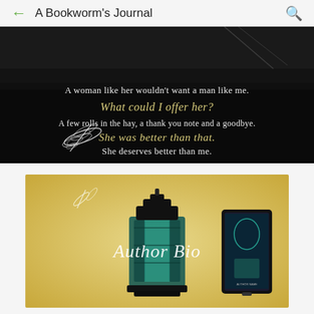A Bookworm's Journal
[Figure (illustration): Dark romantic book quote image with a feather. Text reads: 'A woman like her wouldn't want a man like me. What could I offer her? A few rolls in the hay, a thank you note and a goodbye. She was better than that. She deserves better than me.']
[Figure (illustration): Author Bio promotional image featuring a teal/turquoise ornate lantern on a golden warm background with feathers, and a book cover tablet mockup on the right. 'Author Bio' written in elegant script lettering.]